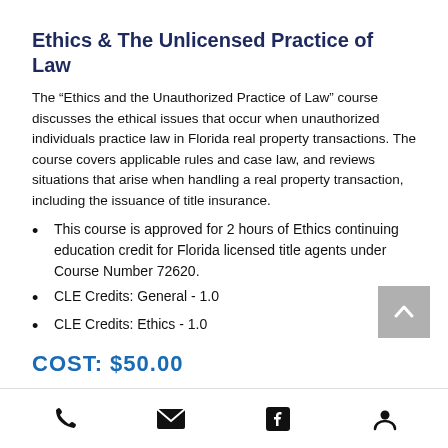Ethics & The Unlicensed Practice of Law
The “Ethics and the Unauthorized Practice of Law” course discusses the ethical issues that occur when unauthorized individuals practice law in Florida real property transactions. The course covers applicable rules and case law, and reviews situations that arise when handling a real property transaction, including the issuance of title insurance.
This course is approved for 2 hours of Ethics continuing education credit for Florida licensed title agents under Course Number 72620.
CLE Credits: General - 1.0
CLE Credits: Ethics - 1.0
COST: $50.00
Phone | Email | Facebook | Account